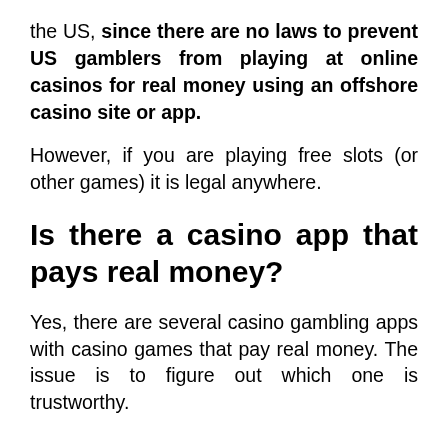the US, since there are no laws to prevent US gamblers from playing at online casinos for real money using an offshore casino site or app.
However, if you are playing free slots (or other games) it is legal anywhere.
Is there a casino app that pays real money?
Yes, there are several casino gambling apps with casino games that pay real money. The issue is to figure out which one is trustworthy.